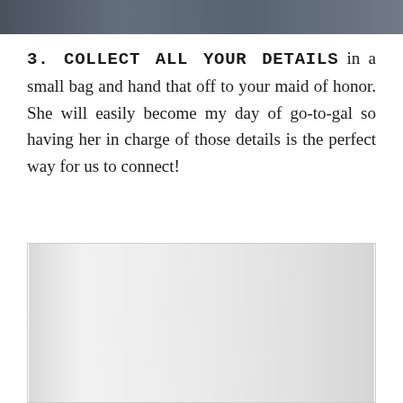[Figure (photo): Partial photo at top of page, showing dark/muted tones, cropped at page top edge.]
3. COLLECT ALL YOUR DETAILS in a small bag and hand that off to your maid of honor. She will easily become my day of go-to-gal so having her in charge of those details is the perfect way for us to connect!
[Figure (photo): Large photo of white fabric or wedding dress detail, showing soft white textured material with subtle floral embroidery or lace pattern.]